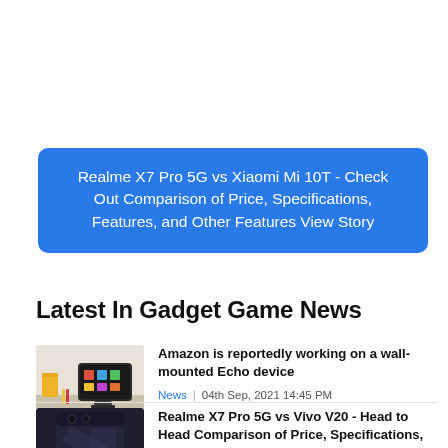[Figure (other): Blue rounded banner with white text: Realme X7 Pro 5G vs Xiaomi Mi 10T - Check Out Comparison of Price, Specifications, Features, and Other Features View Story]
Latest In Gadget Game News
[Figure (photo): Amazon Echo Show wall-mounted device on a counter with yellow mug and pencils]
Amazon is reportedly working on a wall-mounted Echo device
News | 04th Sep, 2021 14:45 PM
[Figure (photo): Dark colored smartphone (Realme X7 Pro 5G) in dark/blue tones]
Realme X7 Pro 5G vs Vivo V20 - Head to Head Comparison of Price, Specifications, Camera, Processor, and Other Features